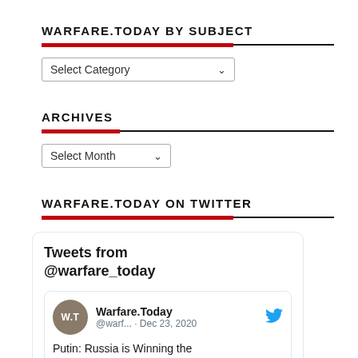WARFARE.TODAY BY SUBJECT
Select Category
ARCHIVES
Select Month
WARFARE.TODAY ON TWITTER
[Figure (screenshot): Twitter widget showing tweets from @warfare_today. Header says 'Tweets from @warfare_today'. A tweet by Warfare.Today (@warf... · Dec 23, 2020) reads: 'Putin: Russia is Winning the Arms Race...']